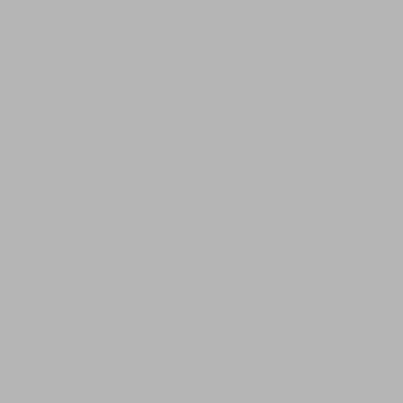have." - Unknown
Posted on Thursday, 28 November 20... | Humor | Permalink | Comments (0) | Tags: Black Friday, economy, shoppi...
Reblog (0) | Digg This | Save to de...
Tuesday, 22 October 2013
The A-Team Arrives! Health...
Wonderful cartoon from Joe Hell...
[Figure (illustration): Dilbert-style cartoon showing characters with text: THE GOOD NEWS: THE GOVERNM... EXPERTS TO FIX THE OBAMAC...]